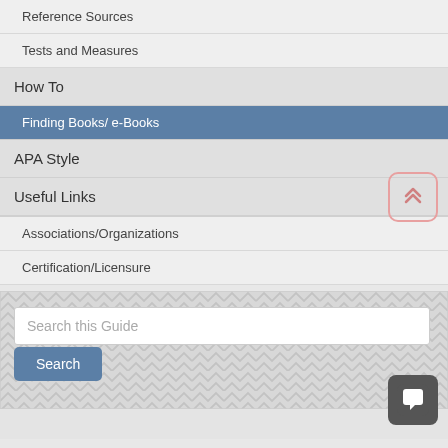Reference Sources
Tests and Measures
How To
Finding Books/ e-Books
APA Style
Useful Links
Associations/Organizations
Certification/Licensure
Search this Guide
Search